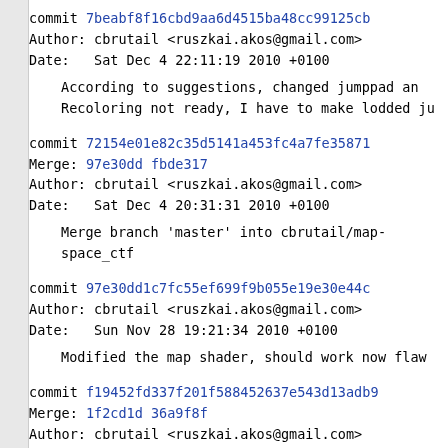commit 7beabf8f16cbd9aa6d4515ba48cc99125cb
Author: cbrutail <ruszkai.akos@gmail.com>
Date:   Sat Dec 4 22:11:19 2010 +0100

    According to suggestions, changed jumppad an
    Recoloring not ready, I have to make lodded ju
commit 72154e01e82c35d5141a453fc4a7fe35871
Merge: 97e30dd fbde317
Author: cbrutail <ruszkai.akos@gmail.com>
Date:   Sat Dec 4 20:31:31 2010 +0100

    Merge branch 'master' into cbrutail/map-space_ctf
commit 97e30dd1c7fc55ef699f9b055e19e30e44c
Author: cbrutail <ruszkai.akos@gmail.com>
Date:   Sun Nov 28 19:21:34 2010 +0100

    Modified the map shader, should work now flaw
commit f19452fd337f201f588452637e543d13adb9
Merge: 1f2cd1d 36a9f8f
Author: cbrutail <ruszkai.akos@gmail.com>
Date:   Sun Nov 28 18:57:58 2010 +0100

    Merge branch 'master' into cbrutail/map-space_ctf
commit 1f2cd1d006d6ae1740944611f1d19f291c6...